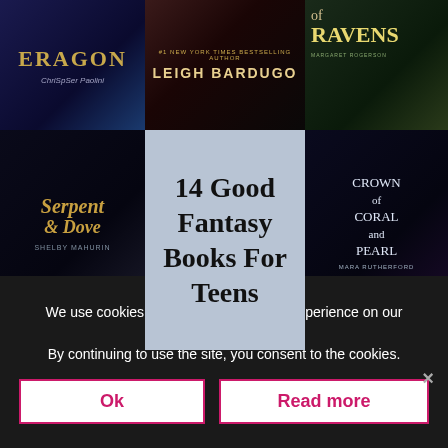[Figure (illustration): Collage of fantasy book covers arranged in a 3×3 grid: Eragon by Christopher Paolini, a Leigh Bardugo book, an 'Of Ravens' book by Margaret Rogerson, Serpent & Dove by Shelby Mahurin, a center overlay card reading '14 Good Fantasy Books For Teens', Crown of Coral and Pearl by Mara Rutherford, Sorcery of Thorns, and House of Salt and Sorrows.]
14 Good Fantasy Books For Teens
We use cookies to ensure you the best experience on our website. By continuing to use the site, you consent to the cookies.